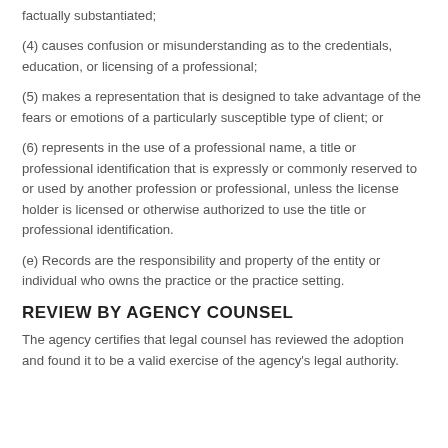factually substantiated;
(4) causes confusion or misunderstanding as to the credentials, education, or licensing of a professional;
(5) makes a representation that is designed to take advantage of the fears or emotions of a particularly susceptible type of client; or
(6) represents in the use of a professional name, a title or professional identification that is expressly or commonly reserved to or used by another profession or professional, unless the license holder is licensed or otherwise authorized to use the title or professional identification.
(e) Records are the responsibility and property of the entity or individual who owns the practice or the practice setting.
REVIEW BY AGENCY COUNSEL
The agency certifies that legal counsel has reviewed the adoption and found it to be a valid exercise of the agency's legal authority.